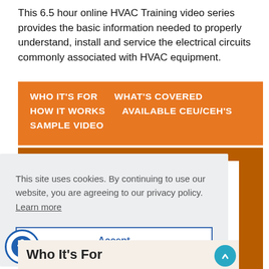This 6.5 hour online HVAC Training video series provides the basic information needed to properly understand, install and service the electrical circuits commonly associated with HVAC equipment.
WHO IT'S FOR   WHAT'S COVERED   HOW IT WORKS   AVAILABLE CEU/CEH'S   SAMPLE VIDEO
This site uses cookies. By continuing to use our website, you are agreeing to our privacy policy.  Learn more
Accept
Who It's For